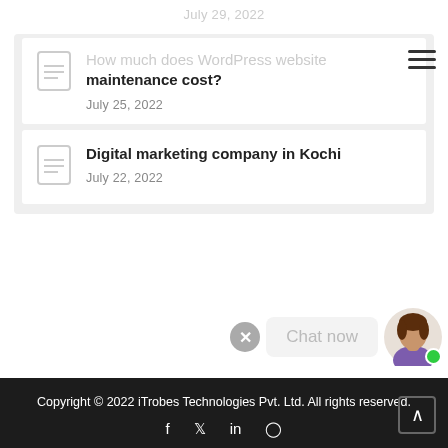July 29, 2022
How much does WordPress website maintenance cost?
July 25, 2022
Digital marketing company in Kochi
July 22, 2022
[Figure (infographic): Chat now widget with avatar and close button]
Copyright © 2022 iTrobes Technologies Pvt. Ltd. All rights reserved.